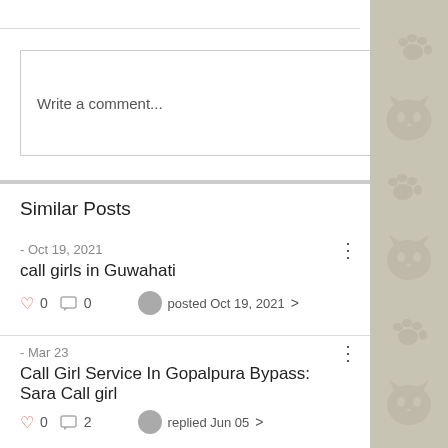Write a comment...
Similar Posts
- Oct 19, 2021
call girls in Guwahati
0   0   posted Oct 19, 2021 >
- Mar 23
Call Girl Service In Gopalpura Bypass: Sara Call girl
0   2   replied Jun 05 >